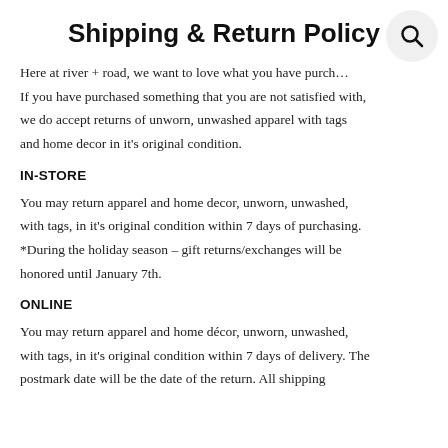Shipping & Return Policy
Here at river + road, we want to love what you have purch… If you have purchased something that you are not satisfied with, we do accept returns of unworn, unwashed apparel with tags and home decor in it's original condition.
IN-STORE
You may return apparel and home decor, unworn, unwashed, with tags, in it's original condition within 7 days of purchasing. *During the holiday season – gift returns/exchanges will be honored until January 7th.
ONLINE
You may return apparel and home décor, unworn, unwashed, with tags, in it's original condition within 7 days of delivery. The postmark date will be the date of the return. All shipping